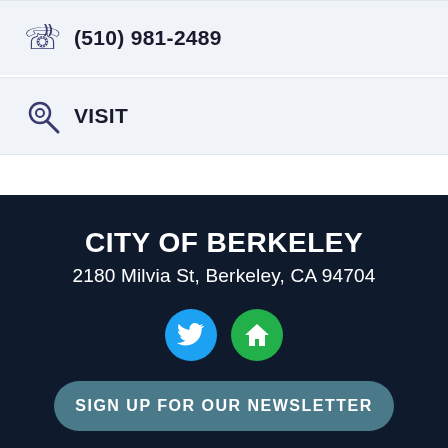(510) 981-2489
VISIT
CITY OF BERKELEY
2180 Milvia St, Berkeley, CA 94704
[Figure (logo): Twitter bird icon in blue circle and home icon in green circle]
SIGN UP FOR OUR NEWSLETTER
Get alerted about emergencies